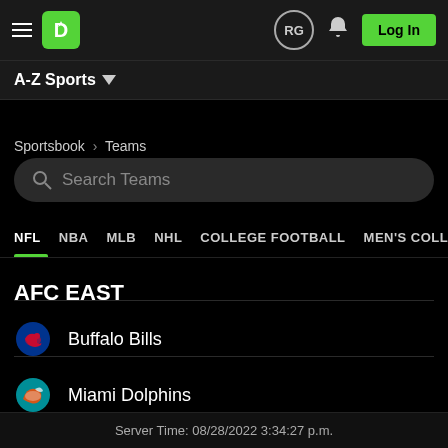DraftKings Sportsbook - RG - Log In
A-Z Sports
Sportsbook › Teams
Search Teams
NFL  NBA  MLB  NHL  COLLEGE FOOTBALL  MEN'S COLLEGE BASKETBALL
AFC EAST
Buffalo Bills
Miami Dolphins
Server Time: 08/28/2022 3:34:27 p.m.